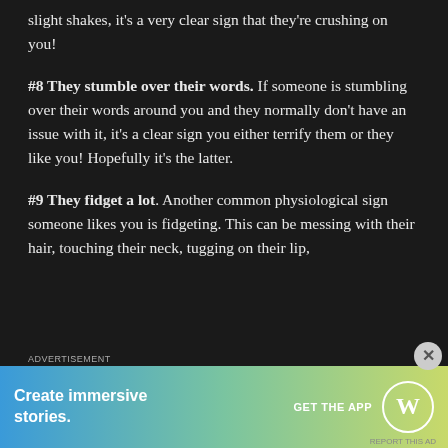slight shakes, it's a very clear sign that they're crushing on you!
#8 They stumble over their words. If someone is stumbling over their words around you and they normally don't have an issue with it, it's a clear sign you either terrify them or they like you! Hopefully it's the latter.
#9 They fidget a lot. Another common physiological sign someone likes you is fidgeting. This can be messing with their hair, touching their neck, tugging on their lip,
[Figure (other): WordPress advertisement banner with gradient background (blue to green to yellow-green). Text reads 'Create immersive stories.' with 'GET THE APP' call to action and WordPress circular logo.]